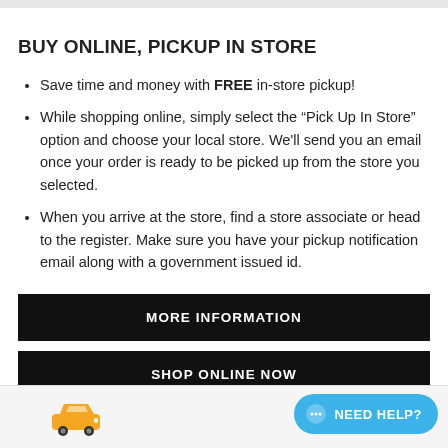BUY ONLINE, PICKUP IN STORE
Save time and money with FREE in-store pickup!
While shopping online, simply select the “Pick Up In Store” option and choose your local store. We'll send you an email once your order is ready to be picked up from the store you selected.
When you arrive at the store, find a store associate or head to the register. Make sure you have your pickup notification email along with a government issued id.
MORE INFORMATION
SHOP ONLINE NOW
[Figure (illustration): Orange car icon at the bottom of the page]
NEED HELP?